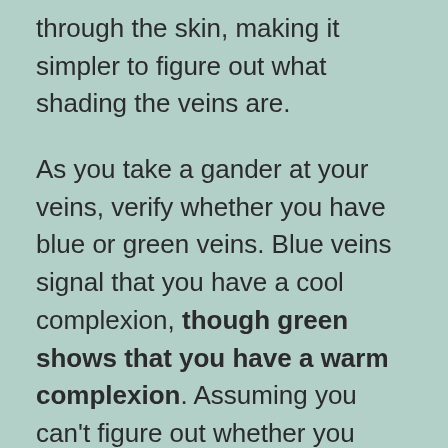through the skin, making it simpler to figure out what shading the veins are.
As you take a gander at your veins, verify whether you have blue or green veins. Blue veins signal that you have a cool complexion, though green shows that you have a warm complexion. Assuming you can't figure out whether you have green or blue, almost certainly, you have an unbiased complexion.
USE THE PAPER TEST
In case you can't see your veins or need more affirmation, the following stage to deciding your